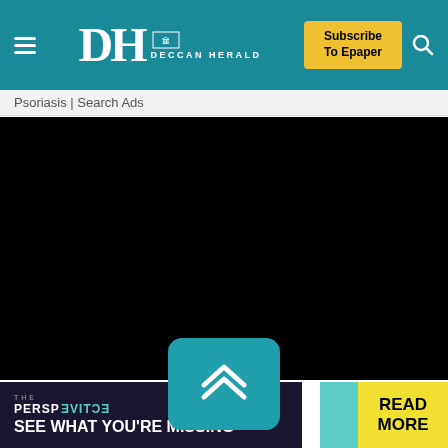Deccan Herald - Navigation bar with hamburger menu, DH Deccan Herald logo, Subscribe To Epaper button, and search icon
Psoriasis | Search Ads
[Figure (other): Black content area - embedded video or media player area]
[Figure (other): Teal rounded scroll-up button with double chevron up arrow]
[Figure (other): Bottom advertisement banner: THE PERSPECTIVE / SEE WHAT YOU'RE MISSING with READ MORE button in yellow]